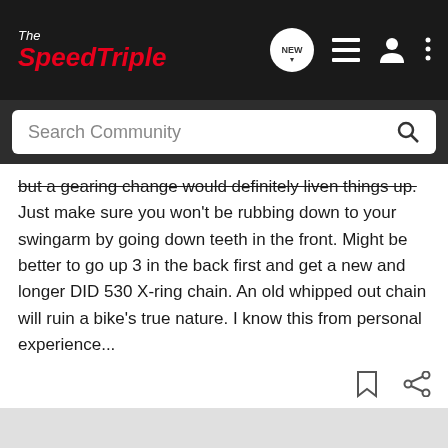The SpeedTriple — navigation bar with logo and icons
but a gearing change would definitely liven things up. Just make sure you won't be rubbing down to your swingarm by going down teeth in the front. Might be better to go up 3 in the back first and get a new and longer DID 530 X-ring chain. An old whipped out chain will ruin a bike's true nature. I know this from personal experience...
[Figure (screenshot): Advertisement banner for Suzuki GSX-S1000 GT with blue motorcycle image and 'SEE IT NOW' call to action]
[Figure (screenshot): Green 'G' avatar icon at bottom left]